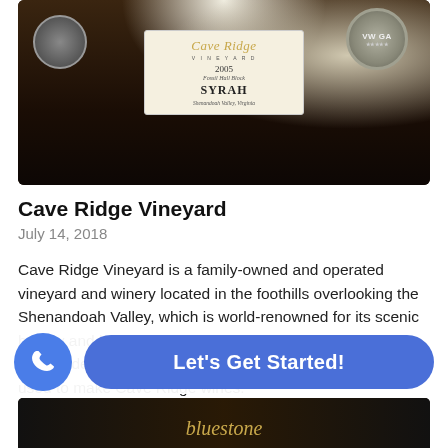[Figure (photo): Close-up photograph of Cave Ridge Vineyard wine bottles including a 2005 Syrah Shenandoah Valley Virginia bottle with a white label in cursive script, flanked by medallions and other bottles in dark background.]
Cave Ridge Vineyard
July 14, 2018
Cave Ridge Vineyard is a family-owned and operated vineyard and winery located in the foothills overlooking the Shenandoah Valley, which is world-renowned for its scenic beauty and history. Low rainfall and deep rocky soils make this an ideal location for growing the highest quality grapes used to make Cave Ridge wines.
[Figure (screenshot): Mobile app UI bottom bar with a blue phone call button (circular) and a blue pill-shaped 'Let's Get Started!' button]
[Figure (photo): Partial bottom image strip showing another vineyard/winery image with cursive text visible]